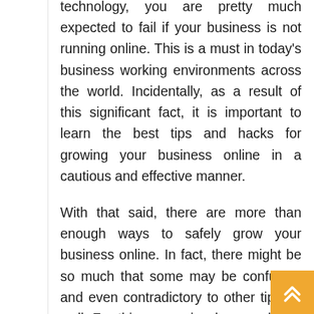technology, you are pretty much expected to fail if your business is not running online. This is a must in today's business working environments across the world. Incidentally, as a result of this significant fact, it is important to learn the best tips and hacks for growing your business online in a cautious and effective manner.
With that said, there are more than enough ways to safely grow your business online. In fact, there might be so much that some may be confusing and even contradictory to other tips as well. For this reason is why you should be very educated on the ways of running a business online. Also, it is important to